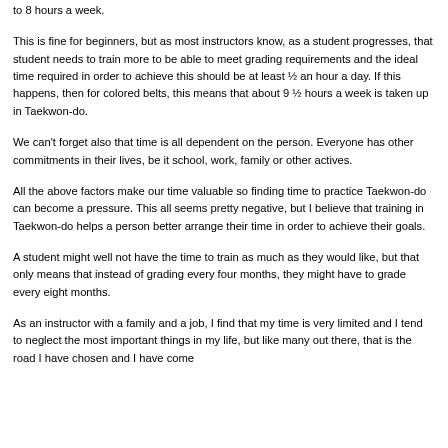to 8 hours a week.
This is fine for beginners, but as most instructors know, as a student progresses, that student needs to train more to be able to meet grading requirements and the ideal time required in order to achieve this should be at least ½ an hour a day. If this happens, then for colored belts, this means that about 9 ½ hours a week is taken up in Taekwon-do.
We can't forget also that time is all dependent on the person. Everyone has other commitments in their lives, be it school, work, family or other actives.
All the above factors make our time valuable so finding time to practice Taekwon-do can become a pressure. This all seems pretty negative, but I believe that training in Taekwon-do helps a person better arrange their time in order to achieve their goals.
A student might well not have the time to train as much as they would like, but that only means that instead of grading every four months, they might have to grade every eight months.
As an instructor with a family and a job, I find that my time is very limited and I tend to neglect the most important things in my life, but like many out there, that is the road I have chosen and I have some